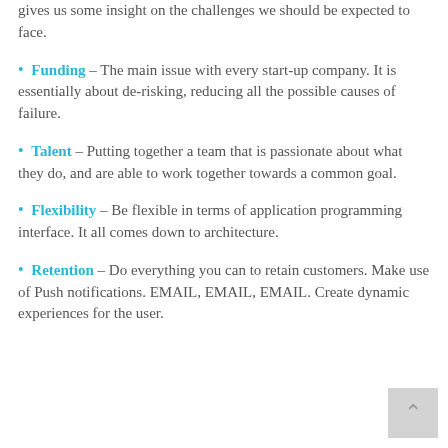gives us some insight on the challenges we should be expected to face.
Funding – The main issue with every start-up company. It is essentially about de-risking, reducing all the possible causes of failure.
Talent – Putting together a team that is passionate about what they do, and are able to work together towards a common goal.
Flexibility – Be flexible in terms of application programming interface. It all comes down to architecture.
Retention – Do everything you can to retain customers. Make use of Push notifications. EMAIL, EMAIL, EMAIL. Create dynamic experiences for the user.